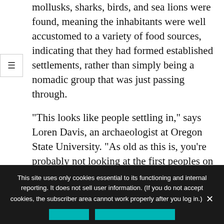mollusks, sharks, birds, and sea lions were found, meaning the inhabitants were well accustomed to a variety of food sources, indicating that they had formed established settlements, rather than simply being a nomadic group that was just passing through.
"This looks like people settling in," says Loren Davis, an archaeologist at Oregon State University. "As old as this is, you're probably not looking at the first peoples on the landscape."
"These strings of events that we have uncovered demonstrate that these people had a remarkable capacity to utilise different types of food resources, which led to a larger society size and everything that
This site uses only cookies essential to its functioning and internal reporting. It does not sell user information. (If you do not accept cookies, the subscriber area cannot work properly after you log in.) ×